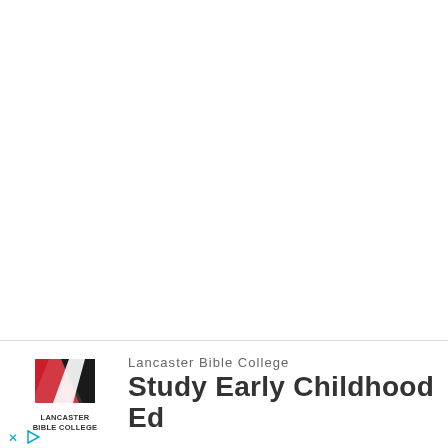[Figure (logo): Lancaster Bible College logo with red and black geometric design, text LANCASTER BIBLE COLLEGE below]
Lancaster Bible College
Study Early Childhood Ed